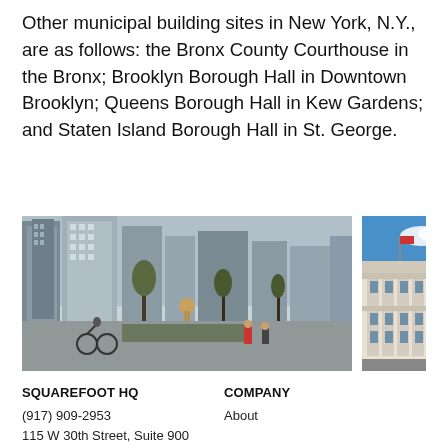Other municipal building sites in New York, N.Y., are as follows: the Bronx County Courthouse in the Bronx; Brooklyn Borough Hall in Downtown Brooklyn; Queens Borough Hall in Kew Gardens; and Staten Island Borough Hall in St. George.
[Figure (photo): Street-level view of tall skyscrapers in lower Manhattan with bare trees and a fountain plaza, people walking and cycling in foreground.]
[Figure (photo): Exterior view of a white neoclassical municipal building against a bright blue sky.]
SQUAREFOOT HQ
(917) 909-2953
115 W 30th Street, Suite 900
New York City, NY 10001
COMPANY
About

Team